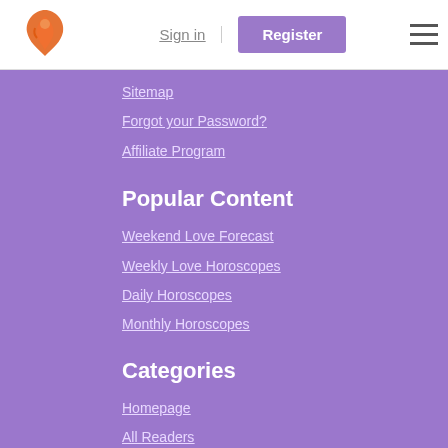Sign in | Register
Sitemap
Forgot your Password?
Affiliate Program
Popular Content
Weekend Love Forecast
Weekly Love Horoscopes
Daily Horoscopes
Monthly Horoscopes
Categories
Homepage
All Readers
Psychic Readings
Dating Advice
Tarot Readings
Breakup Advice